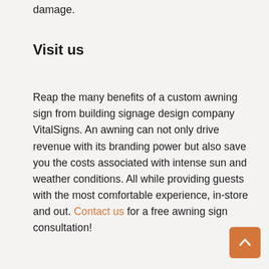damage.
Visit us
Reap the many benefits of a custom awning sign from building signage design company VitalSigns. An awning can not only drive revenue with its branding power but also save you the costs associated with intense sun and weather conditions. All while providing guests with the most comfortable experience, in-store and out. Contact us for a free awning sign consultation!